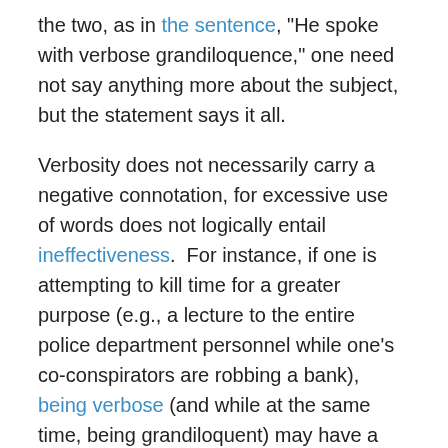the two, as in the sentence, "He spoke with verbose grandiloquence," one need not say anything more about the subject, but the statement says it all.
Verbosity does not necessarily carry a negative connotation, for excessive use of words does not logically entail ineffectiveness. For instance, if one is attempting to kill time for a greater purpose (e.g., a lecture to the entire police department personnel while one's co-conspirators are robbing a bank), being verbose (and while at the same time, being grandiloquent) may have a positive benefit.
On the other hand, being either verbose or grandiloquent which results in providing too much peripheral information, or information which may ultimate harm the essence of one's foundational purpose, may in fact lead to unintended negative consequences.